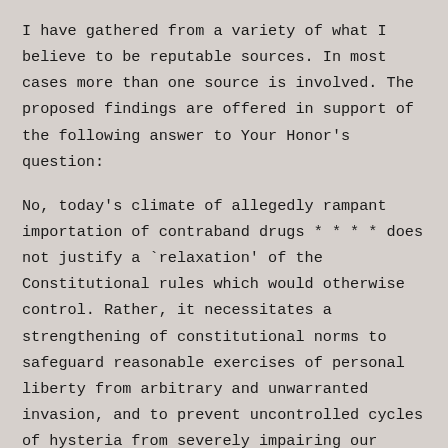I have gathered from a variety of what I believe to be reputable sources. In most cases more than one source is involved. The proposed findings are offered in support of the following answer to Your Honor's question:
No, today's climate of allegedly rampant importation of contraband drugs * * * * does not justify a `relaxation' of the Constitutional rules which would otherwise control. Rather, it necessitates a strengthening of constitutional norms to safeguard reasonable exercises of personal liberty from arbitrary and unwarranted invasion, and to prevent uncontrolled cycles of hysteria from severely impairing our constitutional form of government.
Professorial Amicus' Proposed Findings of Fact